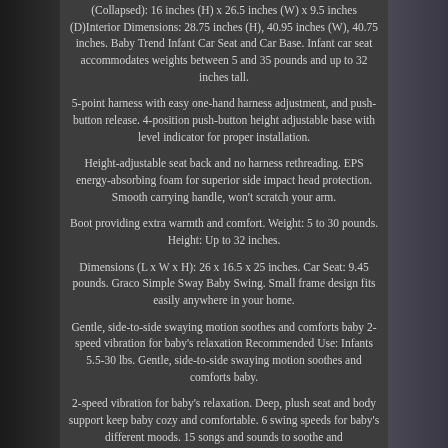(Collapsed): 16 inches (H) x 26.5 inches (W) x 9.5 inches (D)Interior Dimensions: 28.75 inches (H), 40.95 inches (W), 40.75 inches. Baby Trend Infant Car Seat and Car Base. Infant car seat accommodates weights between 5 and 35 pounds and up to 32 inches tall.
5-point harness with easy one-hand harness adjustment, and push-button release. 4-position push-button height adjustable base with level indicator for proper installation.
Height-adjustable seat back and no harness rethreading. EPS energy-absorbing foam for superior side impact head protection. Smooth carrying handle, won't scratch your arm.
Boot providing extra warmth and comfort. Weight: 5 to 30 pounds. Height: Up to 32 inches.
Dimensions (L x W x H): 26 x 16.5 x 25 inches. Car Seat: 9.45 pounds. Graco Simple Sway Baby Swing. Small frame design fits easily anywhere in your home.
Gentle, side-to-side swaying motion soothes and comforts baby 2-speed vibration for baby's relaxation Recommended Use: Infants 5.5-30 lbs. Gentle, side-to-side swaying motion soothes and comforts baby.
2-speed vibration for baby's relaxation. Deep, plush seat and body support keep baby cozy and comfortable. 6 swing speeds for baby's different moods. 15 songs and sounds to soothe and ...